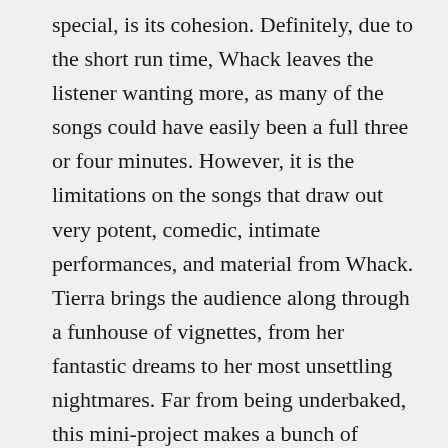special, is its cohesion. Definitely, due to the short run time, Whack leaves the listener wanting more, as many of the songs could have easily been a full three or four minutes. However, it is the limitations on the songs that draw out very potent, comedic, intimate performances, and material from Whack. Tierra brings the audience along through a funhouse of vignettes, from her fantastic dreams to her most unsettling nightmares. Far from being underbaked, this mini-project makes a bunch of emotional and conceptual pit stops, plowing through Whack's biggest desires, and most terrifying insecurities. This project is a beautiful, and eerie manifestation of Whack playing on her terms, to create a project that is incredibly striking, and unapologetically unique. Best of all may be the fact that Tierra has done something extraordinary with